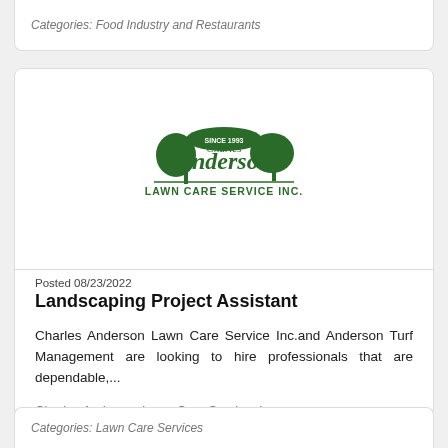Categories: Food Industry and Restaurants
[Figure (logo): Charles Anderson Lawn Care Service Inc. logo with green trees and oval badge]
Posted 08/23/2022
Landscaping Project Assistant
Charles Anderson Lawn Care Service Inc.and Anderson Turf Management are looking to hire professionals that are dependable,...
Charles Anderson Lawn Care Service, Inc.
Categories: Lawn Care Services